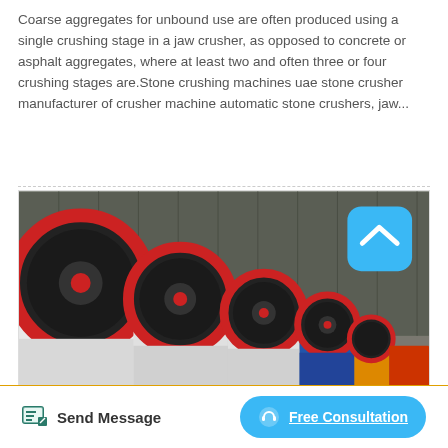Coarse aggregates for unbound use are often produced using a single crushing stage in a jaw crusher, as opposed to concrete or asphalt aggregates, where at least two and often three or four crushing stages are.Stone crushing machines uae stone crusher manufacturer of crusher machine automatic stone crushers, jaw...
[Figure (photo): A row of large jaw crusher machines with white bodies and red-rimmed flywheels, lined up inside an industrial warehouse. The machines decrease in size from left to right, with the foreground showing large red and black flywheels. A blue scroll-to-top button overlay appears in the top-right of the image.]
Send Message
Free Consultation